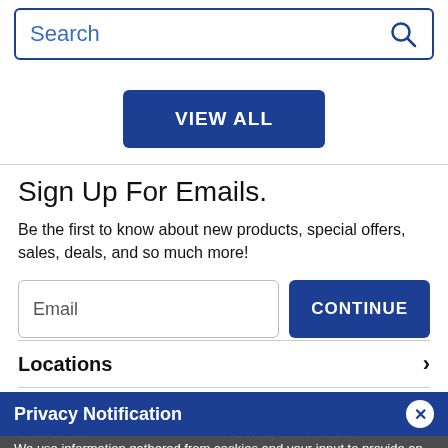[Figure (screenshot): Search bar with blue border and magnifying glass icon]
[Figure (screenshot): Blue VIEW ALL button centered on page]
Sign Up For Emails.
Be the first to know about new products, special offers, sales, deals, and so much more!
[Figure (screenshot): Email input field and CONTINUE button]
Locations
Privacy Notification
We use information gathered from cookies and your input to provide an improved customer experience. Please click here to view our privacy policy and adjust privacy settings.
About  Account  Store Locator  RC Willey Blue Rewards  RC Willey Blog  RC Willey Financing Plans  Sustainability  Email Signup